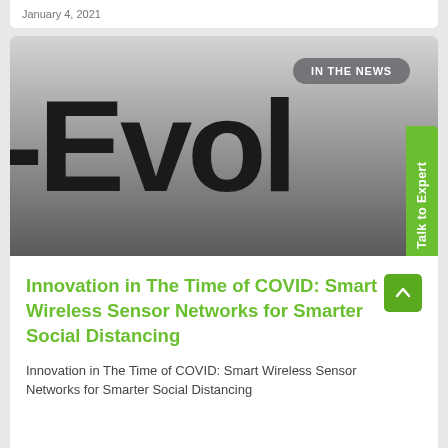January 4, 2021
[Figure (photo): Close-up of large bold text reading '-Evol' on a gradient gray background, partially cropped. Badge reading 'IN THE NEWS' in upper right. Green vertical 'Talk to Expert' tab on right side.]
Innovation in The Time of COVID: Smart Wireless Sensor Networks for Smarter Social Distancing
Innovation in The Time of COVID: Smart Wireless Sensor Networks for Smarter Social Distancing